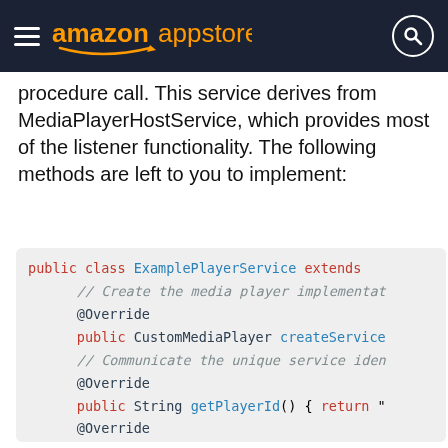amazon appstore
procedure call. This service derives from MediaPlayerHostService, which provides most of the listener functionality. The following methods are left to you to implement:
[Figure (screenshot): Code block showing Java class ExamplePlayerService with @Override annotations and methods including createService, getPlayerId, and onBind]